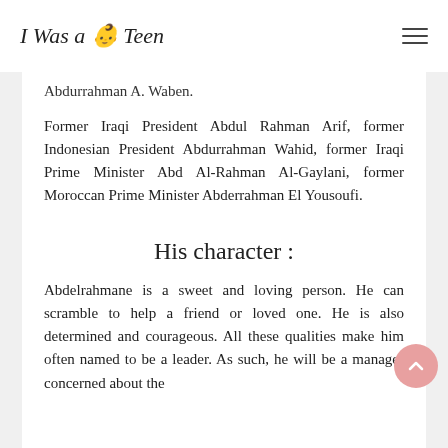I Was a Teen
Abdurrahman A. Waben.
Former Iraqi President Abdul Rahman Arif, former Indonesian President Abdurrahman Wahid, former Iraqi Prime Minister Abd Al-Rahman Al-Gaylani, former Moroccan Prime Minister Abderrahman El Yousoufi.
His character :
Abdelrahmane is a sweet and loving person. He can scramble to help a friend or loved one. He is also determined and courageous. All these qualities make him often named to be a leader. As such, he will be a manager concerned about the